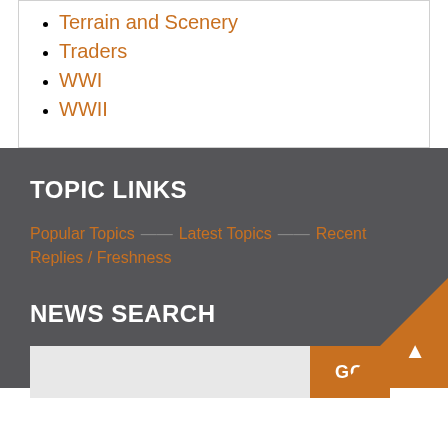Terrain and Scenery
Traders
WWI
WWII
TOPIC LINKS
Popular Topics — Latest Topics — Recent Replies / Freshness
NEWS SEARCH